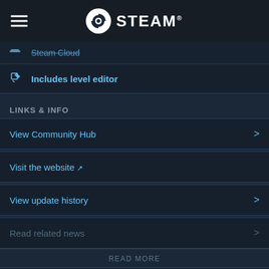STEAM
Steam Cloud
Includes level editor
LINKS & INFO
View Community Hub
Visit the website
View update history
Read related news
READ MORE
LANGUAGES
English and 4 more